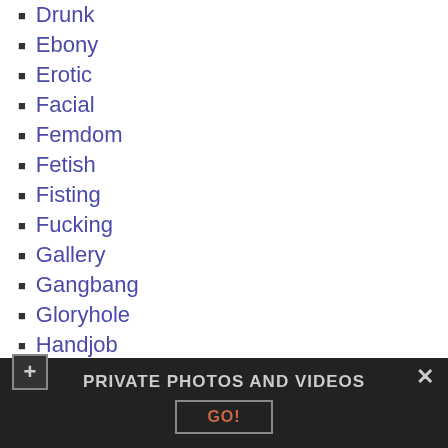Drunk
Ebony
Erotic
Facial
Femdom
Fetish
Fisting
Fucking
Gallery
Gangbang
Gloryhole
Handjob
Hentai
Interracial
Latex
Latina
PRIVATE PHOTOS AND VIDEOS
GO!